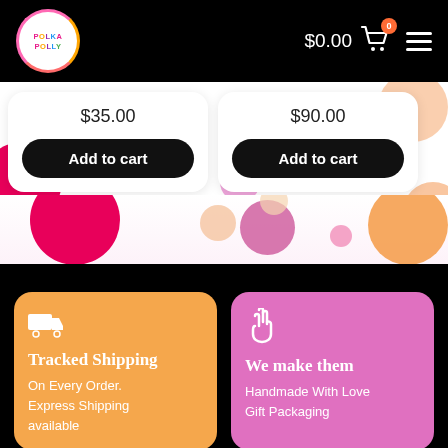[Figure (screenshot): Polka Polly e-commerce website header with logo, cart showing $0.00 with badge showing 0, and hamburger menu]
$35.00
Add to cart
$90.00
Add to cart
[Figure (illustration): Colorful polka dot background with large pink, purple, peach, and orange circles]
Tracked Shipping
On Every Order. Express Shipping available
We make them
Handmade With Love Gift Packaging